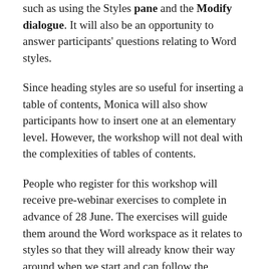such as using the Styles pane and the Modify dialogue. It will also be an opportunity to answer participants' questions relating to Word styles.
Since heading styles are so useful for inserting a table of contents, Monica will also show participants how to insert one at an elementary level. However, the workshop will not deal with the complexities of tables of contents.
People who register for this workshop will receive pre-webinar exercises to complete in advance of 28 June. The exercises will guide them around the Word workspace as it relates to styles so that they will already know their way around when we start and can follow the demonstration more easily. It will also prepare them for a short poll to be taken at the start of the webinar.